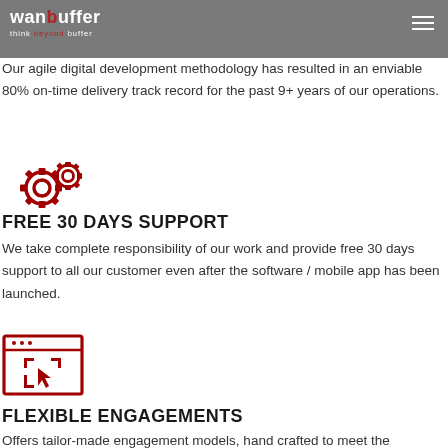wanbuffer — think beyond buffer
80% ON-TIME DELIVERY
Our agile digital development methodology has resulted in an enviable 80% on-time delivery track record for the past 9+ years of our operations.
[Figure (illustration): Red gear/cog icons illustration]
FREE 30 DAYS SUPPORT
We take complete responsibility of our work and provide free 30 days support to all our customer even after the software / mobile app has been launched.
[Figure (illustration): Red browser/screen with cursor icon illustration]
FLEXIBLE ENGAGEMENTS
Offers tailor-made engagement models, hand crafted to meet the